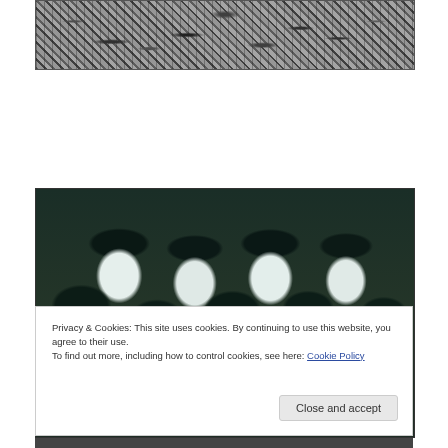[Figure (photo): Black and white photograph of a crowd of people]
[Figure (photo): Teal-tinted photograph showing the backs and tops of many people's heads with dark hair, viewed from above/behind in a crowd]
Privacy & Cookies: This site uses cookies. By continuing to use this website, you agree to their use.
To find out more, including how to control cookies, see here: Cookie Policy
Close and accept